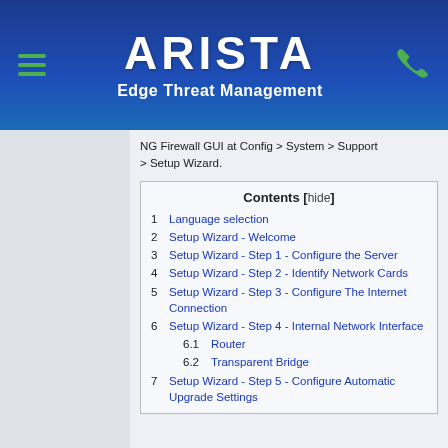ARISTA
Edge Threat Management
NG Firewall GUI at Config > System > Support > Setup Wizard.
| Contents [hide] |
| --- |
| 1  Language selection |
| 2  Setup Wizard - Welcome |
| 3  Setup Wizard - Step 1 - Configure the Server |
| 4  Setup Wizard - Step 2 - Identify Network Cards |
| 5  Setup Wizard - Step 3 - Configure The Internet Connection |
| 6  Setup Wizard - Step 4 - Internal Network Interface |
| 6.1  Router |
| 6.2  Transparent Bridge |
| 7  Setup Wizard - Step 5 - Configure Automatic Upgrade Settings |